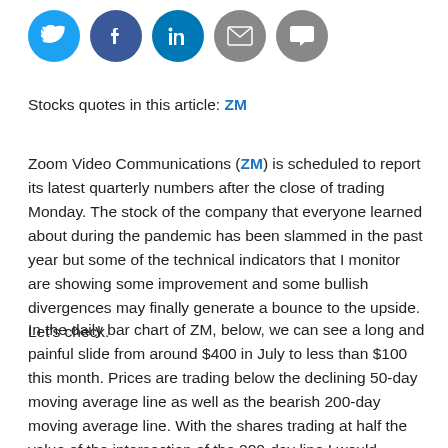[Figure (other): Social media sharing icons: Twitter (blue), Facebook (dark blue), LinkedIn (blue), Email (grey), Comment (grey) — all circular buttons]
Stocks quotes in this article: ZM
Zoom Video Communications (ZM) is scheduled to report its latest quarterly numbers after the close of trading Monday. The stock of the company that everyone learned about during the pandemic has been slammed in the past year but some of the technical indicators that I monitor are showing some improvement and some bullish divergences may finally generate a bounce to the upside. Let's check.
In the daily bar chart of ZM, below, we can see a long and painful slide from around $400 in July to less than $100 this month. Prices are trading below the declining 50-day moving average line as well as the bearish 200-day moving average line. With the shares trading at half the value of the intersection of the 200-day line I would consider the